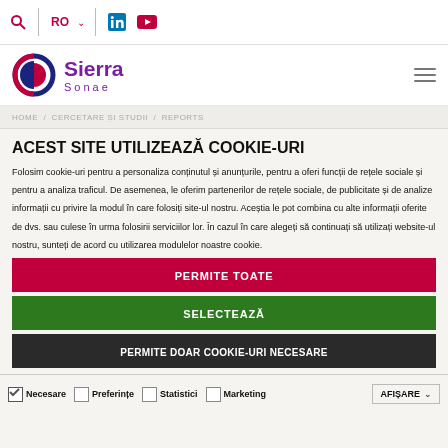RO | LinkedIn | YouTube | Search
[Figure (logo): Sierra Sonae logo with circular graphic]
HOME / CERCETARE ȘI STUDII / REPORTS
ACEST SITE UTILIZEAZĂ COOKIE-URI
Folosim cookie-uri pentru a personaliza conținutul și anunțurile, pentru a oferi funcții de rețele sociale și pentru a analiza traficul. De asemenea, le oferim partenerilor de rețele sociale, de publicitate și de analize informații cu privire la modul în care folosiți site-ul nostru. Aceștia le pot combina cu alte informații oferite de dvs. sau culese în urma folosirii serviciilor lor. În cazul în care alegeți să continuați să utilizați website-ul nostru, sunteți de acord cu utilizarea modulelor noastre cookie.
PERMITE TOATE
SELECTEAZĂ
PERMITE DOAR COOKIE-URI NECESARE
Necesare  Preferințe  Statistici  Marketing  AFIȘARE